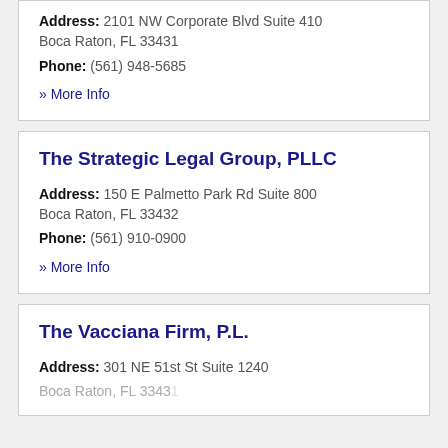Address: 2101 NW Corporate Blvd Suite 410 Boca Raton, FL 33431
Phone: (561) 948-5685
» More Info
The Strategic Legal Group, PLLC
Address: 150 E Palmetto Park Rd Suite 800 Boca Raton, FL 33432
Phone: (561) 910-0900
» More Info
The Vacciana Firm, P.L.
Address: 301 NE 51st St Suite 1240